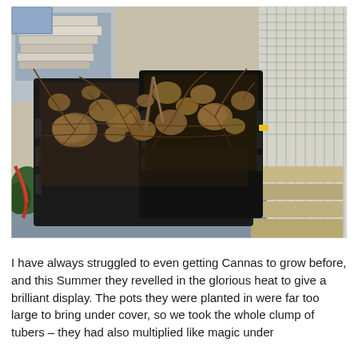[Figure (photo): A large black plastic crate filled with dahlia or canna tubers/rhizomes with dried roots, placed in what appears to be a greenhouse or polytunnel setting. Shelving with trays visible in background, mesh netting on the right side.]
I have always struggled to even getting Cannas to grow before, and this Summer they revelled in the glorious heat to give a brilliant display.  The pots they were planted in were far too large to bring under cover, so we took the whole clump of tubers – they had also multiplied like magic under...